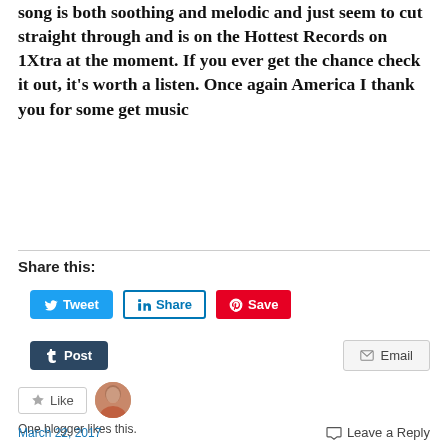song is both soothing and melodic and just seem to cut straight through and is on the Hottest Records on 1Xtra at the moment. If you ever get the chance check it out, it’s worth a listen. Once again America I thank you for some get music
Share this:
[Figure (screenshot): Social share buttons: Tweet (Twitter/blue), Share (LinkedIn/outlined), Save (Pinterest/red), Post (Tumblr/dark), Email (grey outlined)]
[Figure (screenshot): Like button with star icon and blogger avatar thumbnail. Text: One blogger likes this.]
One blogger likes this.
March 22, 2017    Leave a Reply